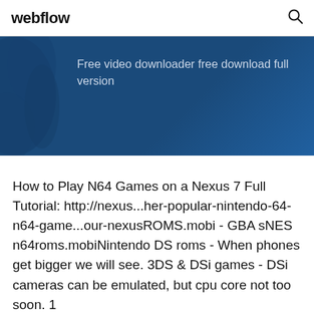webflow
[Figure (screenshot): Blue banner with decorative dark blue feather/leaf pattern on the left and text reading: Free video downloader free download full version]
Free video downloader free download full version
How to Play N64 Games on a Nexus 7 Full Tutorial: http://nexus...her-popular-nintendo-64-n64-game...our-nexusROMS.mobi - GBA sNES n64roms.mobiNintendo DS roms - When phones get bigger we will see. 3DS & DSi games - DSi cameras can be emulated, but cpu core not too soon. 1